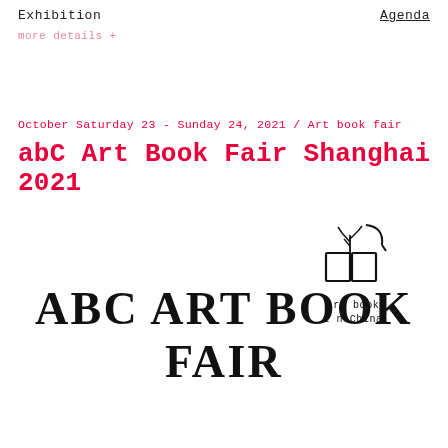Exhibition    Agenda
more details +
October Saturday 23 - Sunday 24, 2021 / Art book fair
abC Art Book Fair Shanghai 2021
[Figure (logo): Art Book in China logo: stylized open book with plant/tree growing from it and a curved element, with text 'art book i n China' below]
ABC ART BOOK FAIR